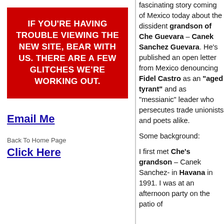[Figure (other): Red banner with white bold text: IF YOU'RE HAVING TROUBLE VIEWING THE NEW SITE, BEAR WITH US. THERE ARE A FEW GLITCHES WE'RE WORKING OUT.]
Email Me
Back To Home Page
Click Here
fascinating story coming of Mexico today about the dissident grandson of Che Guevara – Canek Sanchez Guevara. He's published an open letter from Mexico denouncing Fidel Castro as an "aged tyrant" and as "messianic" leader who persecutes trade unionists and poets alike.

Some background:

I first met Che's grandson – Canek Sanchez- in Havana in 1991. I was at an afternoon party on the patio of